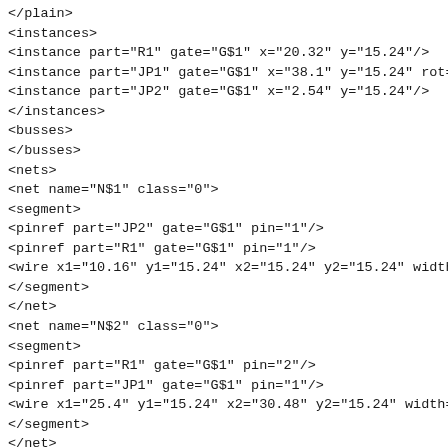</plain>
<instances>
<instance part="R1" gate="G$1" x="20.32" y="15.24"/>
<instance part="JP1" gate="G$1" x="38.1" y="15.24" rot="R
<instance part="JP2" gate="G$1" x="2.54" y="15.24"/>
</instances>
<busses>
</busses>
<nets>
<net name="N$1" class="0">
<segment>
<pinref part="JP2" gate="G$1" pin="1"/>
<pinref part="R1" gate="G$1" pin="1"/>
<wire x1="10.16" y1="15.24" x2="15.24" y2="15.24" width=
</segment>
</net>
<net name="N$2" class="0">
<segment>
<pinref part="R1" gate="G$1" pin="2"/>
<pinref part="JP1" gate="G$1" pin="1"/>
<wire x1="25.4" y1="15.24" x2="30.48" y2="15.24" width="0
</segment>
</net>
</nets>
</sheet>
</sheets>
</schematic>
</drawing>
</eagle>